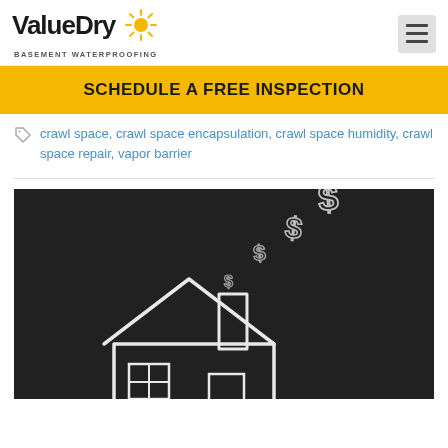ValueDry Basement Waterproofing
SCHEDULE A FREE INSPECTION
crawl space, crawl space encapsulation, crawl space humidity, crawl space repair, vapor barrier
[Figure (photo): Chalkboard illustration of a house with dollar signs floating up from the chimney, representing money lost due to crawl space or basement issues.]